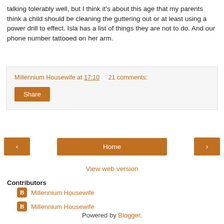talking tolerably well, but I think it's about this age that my parents think a child should be cleaning the guttering out or at least using a power drill to effect. Isla has a list of things they are not to do. And our phone number tattooed on her arm.
Millennium Housewife at 17:10   21 comments:
Share
< Home >
View web version
Contributors
Millennium Housewife
Millennium Housewife
Powered by Blogger.